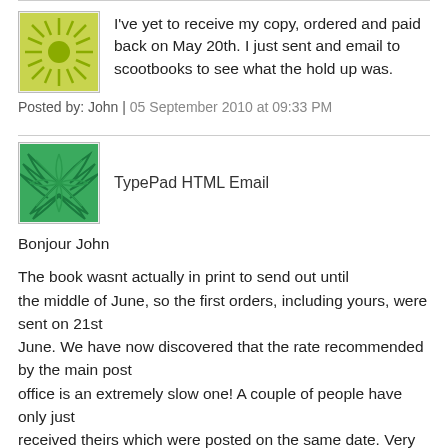I've yet to receive my copy, ordered and paid back on May 20th. I just sent and email to scootbooks to see what the hold up was.
Posted by: John | 05 September 2010 at 09:33 PM
TypePad HTML Email
Bonjour John
The book wasnt actually in print to send out until the middle of June, so the first orders, including yours, were sent on 21st June. We have now discovered that the rate recommended by the main post office is an extremely slow one! A couple of people have only just received theirs which were posted on the same date. Very frustrating.
Since then, a different post office has recommended